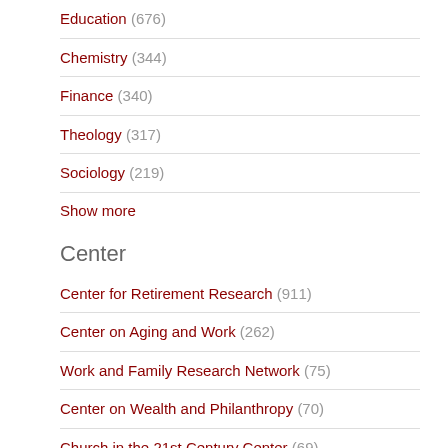Education (676)
Chemistry (344)
Finance (340)
Theology (317)
Sociology (219)
Show more
Center
Center for Retirement Research (911)
Center on Aging and Work (262)
Work and Family Research Network (75)
Center on Wealth and Philanthropy (70)
Church in the 21st Century Center (69)
TIMSS and PIRLS International Study Center (69)
Show more
Genre
thesis (3052)